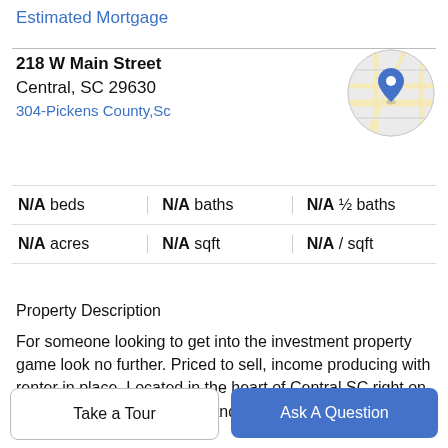Estimated Mortgage
218 W Main Street
Central, SC 29630
304-Pickens County,Sc
[Figure (map): Circular map thumbnail showing street map with a blue location pin marker]
| Stat | Value |
| --- | --- |
| N/A beds | N/A baths | N/A ½ baths |
| N/A acres | N/A sqft | N/A / sqft |
Property Description
For someone looking to get into the investment property game look no further. Priced to sell, income producing with renter in place. Located in the heart of Central SC right on Main St. Great traffic count and plenty of foot traffic.
Building and/or are for sale.